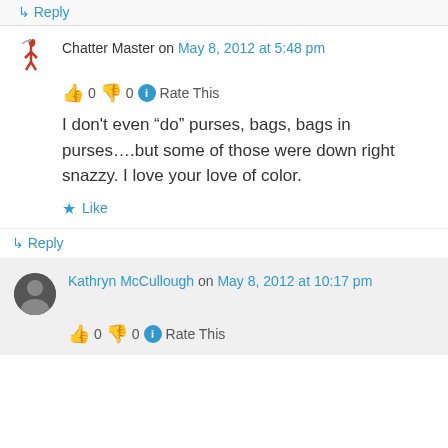↳ Reply
Chatter Master on May 8, 2012 at 5:48 pm
👍 0 👎 0 ℹ Rate This
I don’t even “do” purses, bags, bags in purses….but some of those were down right snazzy. I love your love of color.
★ Like
↳ Reply
Kathryn McCullough on May 8, 2012 at 10:17 pm
👍 0 👎 0 ℹ Rate This